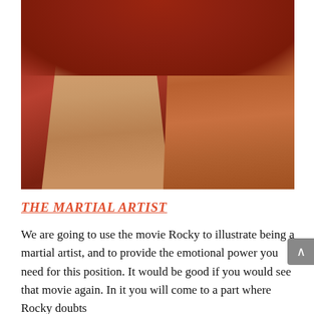[Figure (photo): A movie still from Rocky showing the boxer (shirtless, with blood on his face) being attended to by his trainer in a boxing corner. The background is a deep red. The trainer in an orange/brown jacket leans toward the boxer.]
THE MARTIAL ARTIST
We are going to use the movie Rocky to illustrate being a martial artist, and to provide the emotional power you need for this position. It would be good if you would see that movie again. In it you will come to a part where Rocky doubts